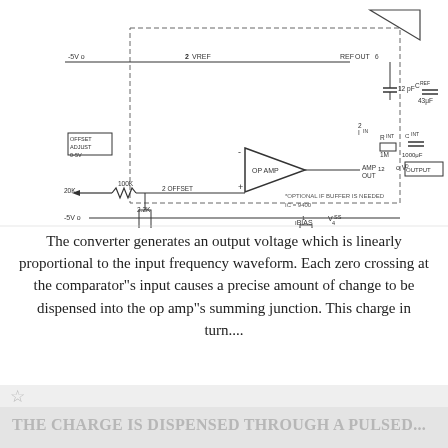[Figure (circuit-diagram): Frequency-to-voltage converter circuit schematic showing comparator, op amp, reference voltage, offset adjust, bias, and optional buffer components including VREF, REFOUT, AMP OUT, OFFSET ADJUST (0-5V), resistors (20K, 100K, 2.2K, 1M), capacitors (12pF, 43uF, 1000uF), and output labeled OUTPUT. Note: *OPTIONAL IF BUFFER IS NEEDED, IC = 9400]
The converter generates an output voltage which is linearly proportional to the input frequency waveform. Each zero crossing at the comparator"s input causes a precise amount of change to be dispensed into the op amp"s summing junction. This charge in turn....